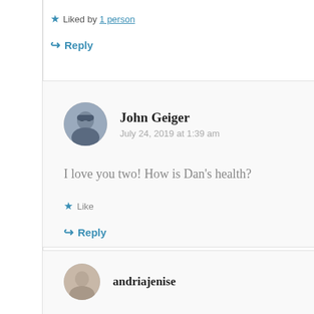Liked by 1 person
Reply
John Geiger
July 24, 2019 at 1:39 am
I love you two! How is Dan's health?
Like
Reply
andriajenise